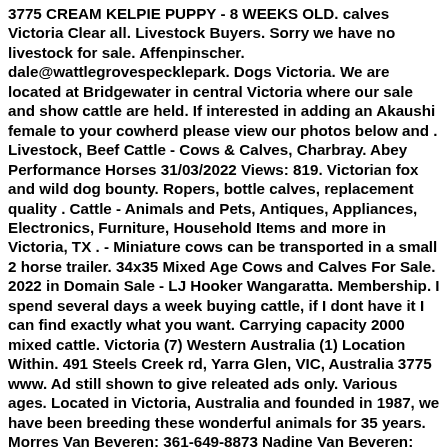3775 CREAM KELPIE PUPPY - 8 WEEKS OLD. calves Victoria Clear all. Livestock Buyers. Sorry we have no livestock for sale. Affenpinscher. dale@wattlegrovespecklepark. Dogs Victoria. We are located at Bridgewater in central Victoria where our sale and show cattle are held. If interested in adding an Akaushi female to your cowherd please view our photos below and . Livestock, Beef Cattle - Cows & Calves, Charbray. Abey Performance Horses 31/03/2022 Views: 819. Victorian fox and wild dog bounty. Ropers, bottle calves, replacement quality . Cattle - Animals and Pets, Antiques, Appliances, Electronics, Furniture, Household Items and more in Victoria, TX . - Miniature cows can be transported in a small 2 horse trailer. 34x35 Mixed Age Cows and Calves For Sale. 2022 in Domain Sale - LJ Hooker Wangaratta. Membership. I spend several days a week buying cattle, if I dont have it I can find exactly what you want. Carrying capacity 2000 mixed cattle. Victoria (7) Western Australia (1) Location Within. 491 Steels Creek rd, Yarra Glen, VIC, Australia 3775 www. Ad still shown to give releated ads only. Various ages. Located in Victoria, Australia and founded in 1987, we have been breeding these wonderful animals for 35 years. Morres Van Beveren: 361-649-8873 Nadine Van Beveren: 361-550-9931 Shelbie Van Beveren: 361-571-2728 Email: morres@pumpjackcattle. J&J Cattle Co provides a wide variety of quality cattle for sale in the Central Texas area and beyond. Cock Stock For Sale $1 375 74 ...